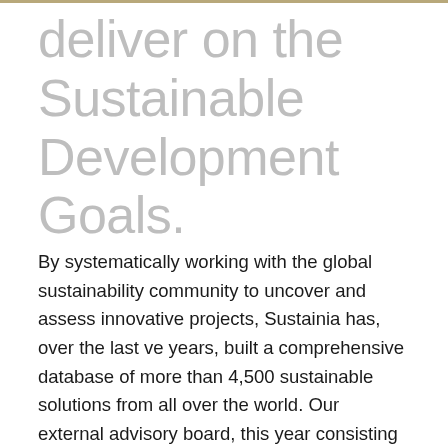deliver on the Sustainable Development Goals.
By systematically working with the global sustainability community to uncover and assess innovative projects, Sustainia has, over the last ve years, built a comprehensive database of more than 4,500 sustainable solutions from all over the world. Our external advisory board, this year consisting of 24 experts from 20